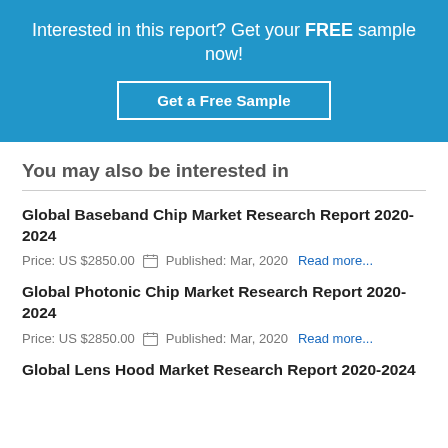Interested in this report? Get your FREE sample now!
Get a Free Sample
You may also be interested in
Global Baseband Chip Market Research Report 2020-2024
Price: US $2850.00   Published: Mar, 2020   Read more...
Global Photonic Chip Market Research Report 2020-2024
Price: US $2850.00   Published: Mar, 2020   Read more...
Global Lens Hood Market Research Report 2020-2024